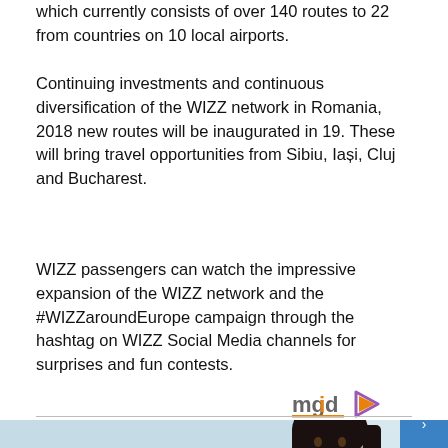which currently consists of over 140 routes to 22 from countries on 10 local airports.
Continuing investments and continuous diversification of the WIZZ network in Romania, 2018 new routes will be inaugurated in 19. These will bring travel opportunities from Sibiu, Iași, Cluj and Bucharest.
WIZZ passengers can watch the impressive expansion of the WIZZ network and the #WIZZaroundEurope campaign through the hashtag on WIZZ Social Media channels for surprises and fun contests.
[Figure (logo): mgid logo with orange play button icon]
[Figure (photo): Photo of a dark-haired woman against a light blue/sky background, cropped at bottom of page]